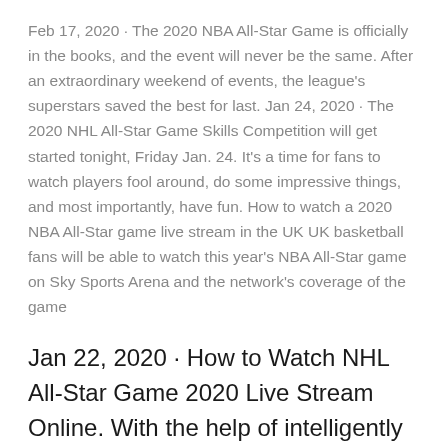Feb 17, 2020 · The 2020 NBA All-Star Game is officially in the books, and the event will never be the same. After an extraordinary weekend of events, the league's superstars saved the best for last. Jan 24, 2020 · The 2020 NHL All-Star Game Skills Competition will get started tonight, Friday Jan. 24. It's a time for fans to watch players fool around, do some impressive things, and most importantly, have fun. How to watch a 2020 NBA All-Star game live stream in the UK UK basketball fans will be able to watch this year's NBA All-Star game on Sky Sports Arena and the network's coverage of the game
Jan 22, 2020 · How to Watch NHL All-Star Game 2020 Live Stream Online. With the help of intelligently current upgrades, it has ended up being definitely not hard to perceive NHL All-Star Game 2020 on any contraptions. Fans